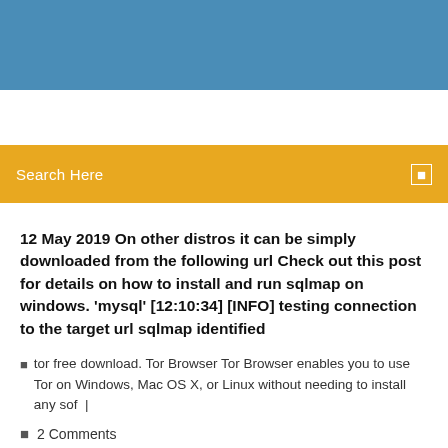[Figure (photo): Blue header banner at top of webpage]
Search Here
12 May 2019 On other distros it can be simply downloaded from the following url Check out this post for details on how to install and run sqlmap on windows. 'mysql' [12:10:34] [INFO] testing connection to the target url sqlmap identified
tor free download. Tor Browser Tor Browser enables you to use Tor on Windows, Mac OS X, or Linux without needing to install any sof  |
2 Comments